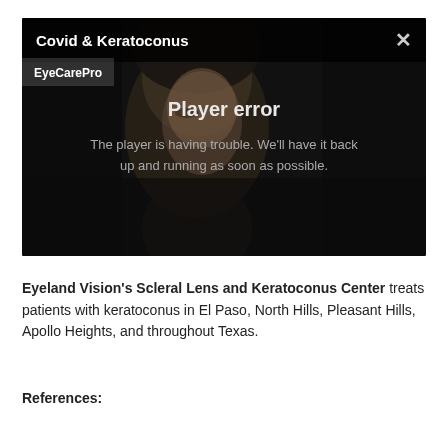[Figure (screenshot): Video player showing a woman's face in dark/dimmed background with a 'Player error' overlay message. The player title bar reads 'Covid & Keratoconus' with a close (X) button. Below the title bar is a channel tag 'EyeCarePro'. The error overlay reads: 'Player error' and 'The player is having trouble. We'll have it back up and running as soon as possible.']
Eyeland Vision's Scleral Lens and Keratoconus Center treats patients with keratoconus in El Paso, North Hills, Pleasant Hills, Apollo Heights, and throughout Texas.
References: